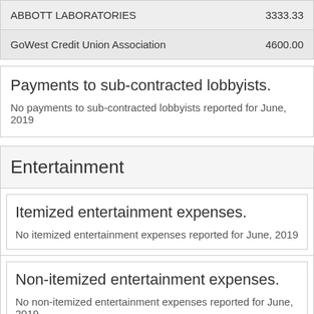| Name | Amount |
| --- | --- |
| ABBOTT LABORATORIES | 3333.33 |
| GoWest Credit Union Association | 4600.00 |
Payments to sub-contracted lobbyists.
No payments to sub-contracted lobbyists reported for June, 2019
Entertainment
Itemized entertainment expenses.
No itemized entertainment expenses reported for June, 2019
Non-itemized entertainment expenses.
No non-itemized entertainment expenses reported for June, 2019